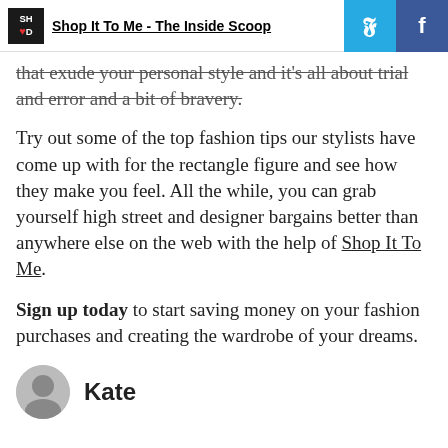Shop It To Me - The Inside Scoop
that exude your personal style and it's all about trial and error and a bit of bravery.
Try out some of the top fashion tips our stylists have come up with for the rectangle figure and see how they make you feel. All the while, you can grab yourself high street and designer bargains better than anywhere else on the web with the help of Shop It To Me.
Sign up today to start saving money on your fashion purchases and creating the wardrobe of your dreams.
Kate